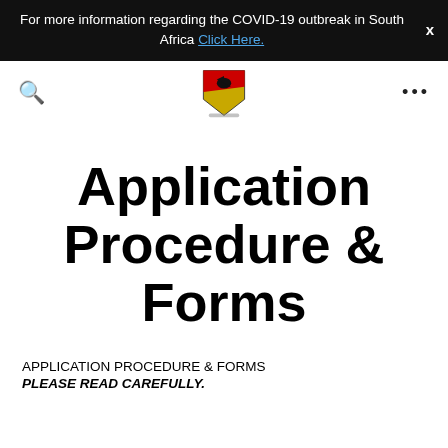For more information regarding the COVID-19 outbreak in South Africa Click Here.
[Figure (logo): School crest/coat of arms logo with red and yellow shield and bird, with decorative base]
Application Procedure & Forms
APPLICATION PROCEDURE & FORMS
PLEASE READ CAREFULLY.